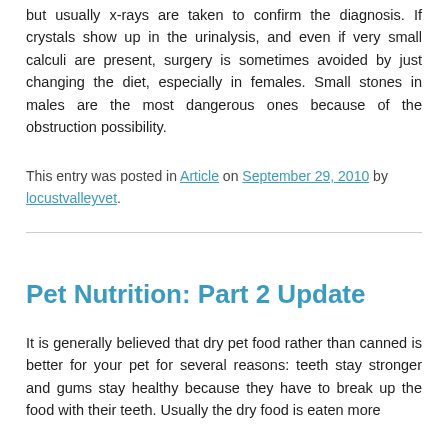but usually x-rays are taken to confirm the diagnosis. If crystals show up in the urinalysis, and even if very small calculi are present, surgery is sometimes avoided by just changing the diet, especially in females. Small stones in males are the most dangerous ones because of the obstruction possibility.
This entry was posted in Article on September 29, 2010 by locustvalleyvet.
Pet Nutrition: Part 2 Update
It is generally believed that dry pet food rather than canned is better for your pet for several reasons: teeth stay stronger and gums stay healthy because they have to break up the food with their teeth. Usually the dry food is eaten more